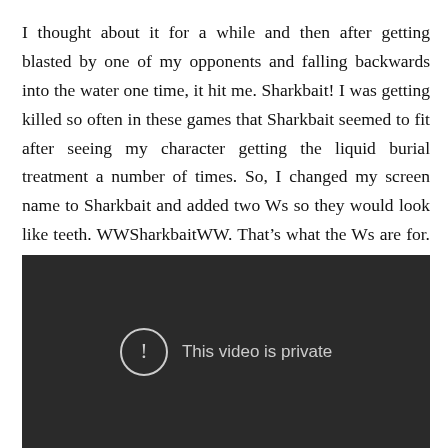I thought about it for a while and then after getting blasted by one of my opponents and falling backwards into the water one time, it hit me. Sharkbait! I was getting killed so often in these games that Sharkbait seemed to fit after seeing my character getting the liquid burial treatment a number of times. So, I changed my screen name to Sharkbait and added two Ws so they would look like teeth. WWSharkbaitWW. That’s what the Ws are for. Some people make the connection, while others just call me “WW” during games.
[Figure (screenshot): Video player showing a private video message. Dark background with a circle exclamation icon and text 'This video is private'.]